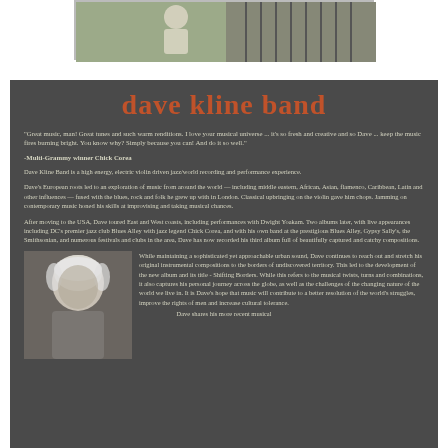[Figure (photo): Photograph at top of page showing people outdoors near an ornate gate]
dave kline band
"Great music, man! Great tunes and such warm renditions. I love your musical universe ... it's so fresh and creative and so Dave ... keep the music fires burning bright. You know why? Simply because you can! And do it so well."
-Multi-Grammy winner Chick Corea
Dave Kline Band is a high energy, electric violin driven jazz/world recording and performance experience.
Dave's European roots led to an exploration of music from around the world — including middle eastern, African, Asian, flamenco, Caribbean, Latin and other influences — fused with the blues, rock and folk he grew up with in London. Classical upbringing on the violin gave him chops. Jamming on contemporary music honed his skills at improvising and taking musical chances.
After moving to the USA, Dave toured East and West coasts, including performances with Dwight Yoakam. Two albums later, with live appearances including DC's premier jazz club Blues Alley with jazz legend Chick Corea, and with his own band at the prestigious Blues Alley, Gypsy Sally's, the Smithsonian, and numerous festivals and clubs in the area, Dave has now recorded his third album full of beautifully captured and catchy compositions.
While maintaining a sophisticated yet approachable urban sound, Dave continues to reach out and stretch his original instrumental compositions to the borders of undiscovered territory. This led to the development of the new album and its title - Shifting Borders. While this refers to the musical twists, turns and combinations, it also captures his personal journey across the globe, as well as the challenges of the changing nature of the world we live in. It is Dave's hope that music will contribute to a better resolution of the world's struggles, improve the rights of men and increase cultural tolerance.
[Figure (photo): Black and white photo of Dave Kline, an older man with grey/white hair]
Dave shares his more recent musical